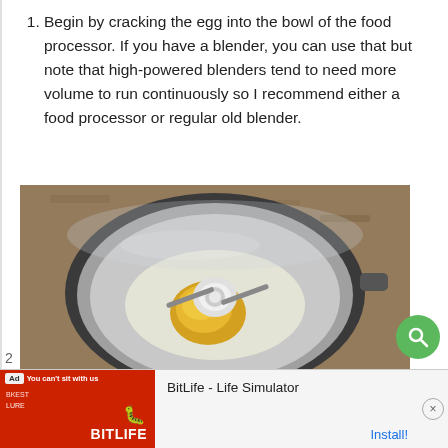Begin by cracking the egg into the bowl of the food processor. If you have a blender, you can use that but note that high-powered blenders tend to need more volume to run continuously so I recommend either a food processor or regular old blender.
[Figure (photo): Top-down view of a food processor bowl with a cracked egg inside, showing the egg yolk and white around the central blade assembly, sitting on a granite countertop.]
[Figure (other): Advertisement banner: BitLife - Life Simulator app ad with red background showing app imagery and Install button.]